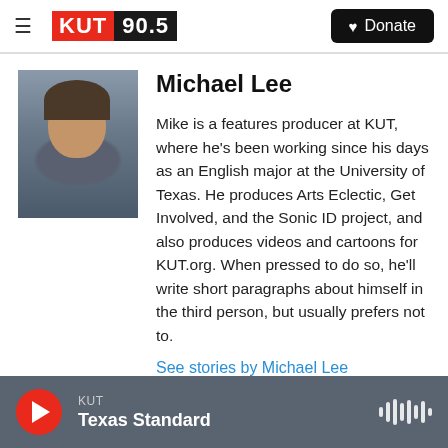KUT 90.5 | Donate
Michael Lee
[Figure (photo): Headshot of Michael Lee, a man with dark wavy hair and a beard, smiling, wearing a plaid shirt]
Mike is a features producer at KUT, where he's been working since his days as an English major at the University of Texas. He produces Arts Eclectic, Get Involved, and the Sonic ID project, and also produces videos and cartoons for KUT.org. When pressed to do so, he'll write short paragraphs about himself in the third person, but usually prefers not to.
See stories by Michael Lee
KUT | Texas Standard